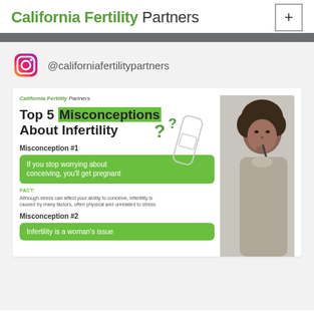California Fertility Partners
@californiafertilitypartners
[Figure (infographic): Infographic card titled 'Top 5 Misconceptions About Infertility' with California Fertility Partners branding. Shows Misconception #1: 'If you stop worrying about conceiving, you'll get pregnant' with FACT text about stress and infertility, and Misconception #2: 'Infertility is a woman's issue'. Includes a photo of a thinking woman and decorative question mark / pregnancy test illustration.]